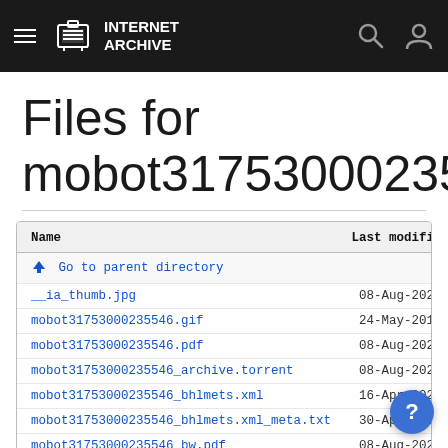INTERNET ARCHIVE
Files for mobot31753000235546
| Name | Last modified |
| --- | --- |
| Go to parent directory |  |
| __ia_thumb.jpg | 08-Aug-2022 |
| mobot31753000235546.gif | 24-May-2011 |
| mobot31753000235546.pdf | 08-Aug-2022 |
| mobot31753000235546_archive.torrent | 08-Aug-2022 |
| mobot31753000235546_bhlmets.xml | 16-Apr-2022 |
| mobot31753000235546_bhlmets.xml_meta.txt | 30-Apr-2013 |
| mobot31753000235546_bw.pdf | 08-Aug-2022 |
| mobot31753000235546_chocr.html.gz | 08-Aug-2022 |
| mobot31753000235546_cloth_detection.log | 08-Aug-2022 |
| mobot31753000235546_dc.xml | 24-May-2011 |